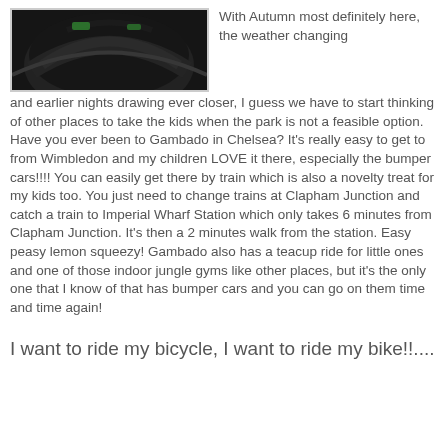[Figure (photo): Close-up photo of a dark helmet with green accents, likely a motorcycle or bicycle helmet]
With Autumn most definitely here, the weather changing and earlier nights drawing ever closer, I guess we have to start thinking of other places to take the kids when the park is not a feasible option. Have you ever been to Gambado in Chelsea? It's really easy to get to from Wimbledon and my children LOVE it there, especially the bumper cars!!!! You can easily get there by train which is also a novelty treat for my kids too. You just need to change trains at Clapham Junction and catch a train to Imperial Wharf Station which only takes 6 minutes from Clapham Junction. It's then a 2 minutes walk from the station. Easy peasy lemon squeezy! Gambado also has a teacup ride for little ones and one of those indoor jungle gyms like other places, but it's the only one that I know of that has bumper cars and you can go on them time and time again!
I want to ride my bicycle, I want to ride my bike!!....